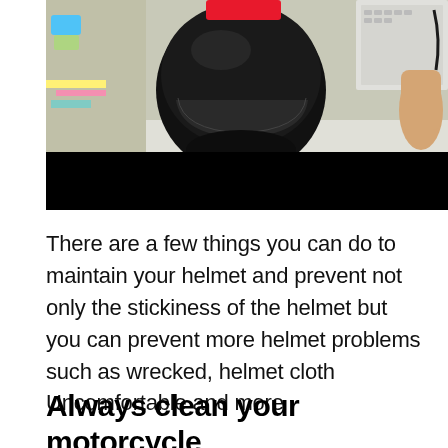[Figure (photo): A black motorcycle helmet on a desk/table surface. A hand is visible on the right side, and there are various items visible on the left side of the frame. There is a red badge/label visible at the top of the helmet. A large black bar overlays the lower portion of the image.]
There are a few things you can do to maintain your helmet and prevent not only the stickiness of the helmet but you can prevent more helmet problems such as wrecked, helmet cloth Uncomfortable and more
Always clean your motorcycle